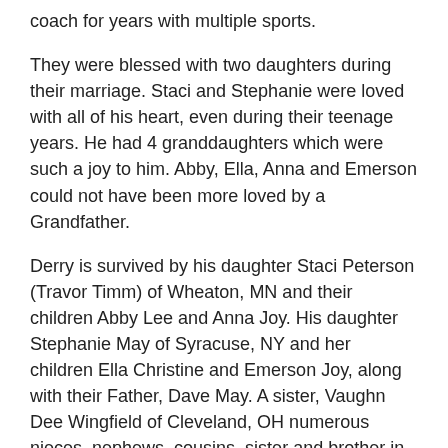coach for years with multiple sports.
They were blessed with two daughters during their marriage. Staci and Stephanie were loved with all of his heart, even during their teenage years. He had 4 granddaughters which were such a joy to him. Abby, Ella, Anna and Emerson could not have been more loved by a Grandfather.
Derry is survived by his daughter Staci Peterson (Travor Timm) of Wheaton, MN and their children Abby Lee and Anna Joy. His daughter Stephanie May of Syracuse, NY and her children Ella Christine and Emerson Joy, along with their Father, Dave May. A sister, Vaughn Dee Wingfield of Cleveland, OH numerous nieces, nephews, cousins, sister and brother in laws and so many friends and former colleagues and students.